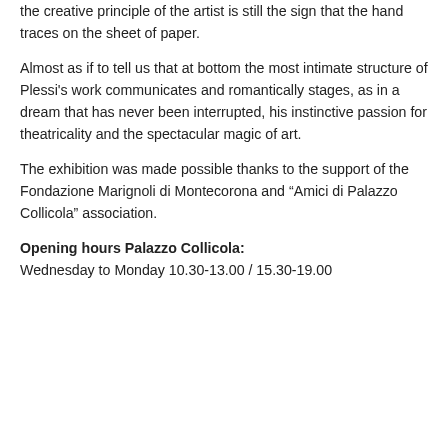the creative principle of the artist is still the sign that the hand traces on the sheet of paper.
Almost as if to tell us that at bottom the most intimate structure of Plessi's work communicates and romantically stages, as in a dream that has never been interrupted, his instinctive passion for theatricality and the spectacular magic of art.
The exhibition was made possible thanks to the support of the Fondazione Marignoli di Montecorona and “Amici di Palazzo Collicola” association.
Opening hours Palazzo Collicola: Wednesday to Monday 10.30-13.00 / 15.30-19.00